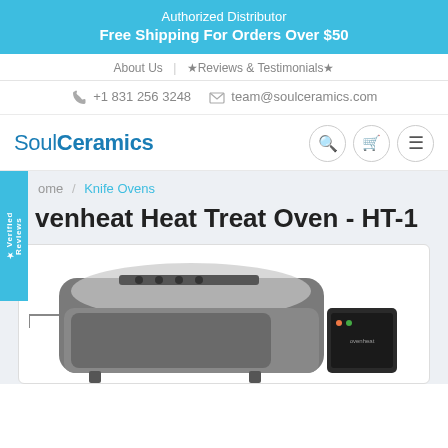Authorized Distributor
Free Shipping For Orders Over $50
About Us | ★Reviews & Testimonials★
+1 831 256 3248   team@soulceramics.com
SoulCeramics
★ Verified Reviews
Home / Knife Ovens
Ovenheat Heat Treat Oven - HT-1
[Figure (photo): Photo of an Ovenheat Heat Treat Oven HT-1, a rectangular industrial oven with rounded edges, gray/silver casing with a control box on the right side, partially shown at bottom of page.]